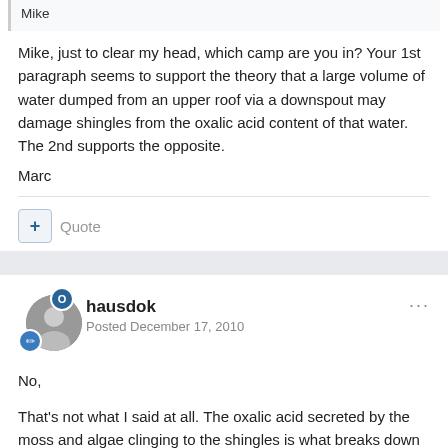Mike
Mike, just to clear my head, which camp are you in? Your 1st paragraph seems to support the theory that a large volume of water dumped from an upper roof via a downspout may damage shingles from the oxalic acid content of that water. The 2nd supports the opposite.
Marc
Quote
hausdok
Posted December 17, 2010
No,
That's not what I said at all. The oxalic acid secreted by the moss and algae clinging to the shingles is what breaks down the